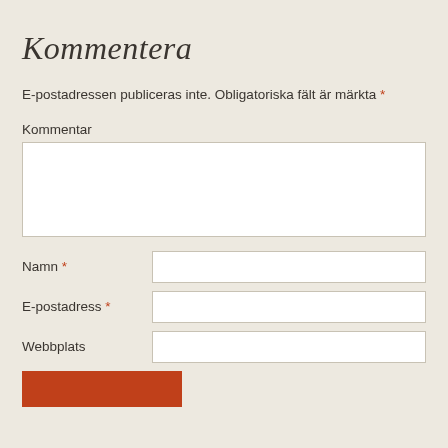Kommentera
E-postadressen publiceras inte. Obligatoriska fält är märkta *
Kommentar
Namn *
E-postadress *
Webbplats